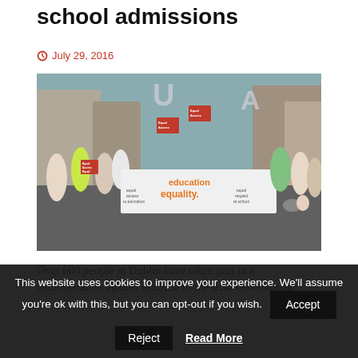school admissions
July 29, 2016
[Figure (photo): A street protest in Dublin showing over 600 people marching and holding signs and a large banner reading 'education equality.' with text also reading 'equal access to education' and 'equal respect at school'. Large inflatable letters in the background spell 'USA'.]
Over 600 people in Dublin have taken part in a demonstration against inaction of the Irish Government
This website uses cookies to improve your experience. We'll assume you're ok with this, but you can opt-out if you wish.